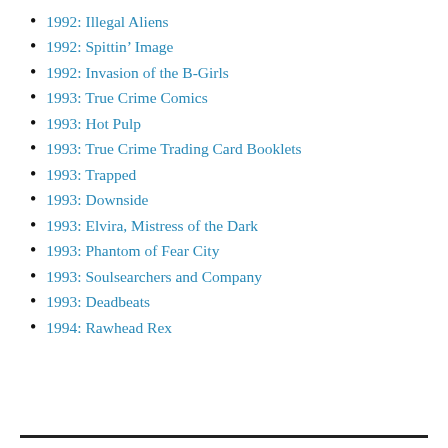1992: Illegal Aliens
1992: Spittin’ Image
1992: Invasion of the B-Girls
1993: True Crime Comics
1993: Hot Pulp
1993: True Crime Trading Card Booklets
1993: Trapped
1993: Downside
1993: Elvira, Mistress of the Dark
1993: Phantom of Fear City
1993: Soulsearchers and Company
1993: Deadbeats
1994: Rawhead Rex